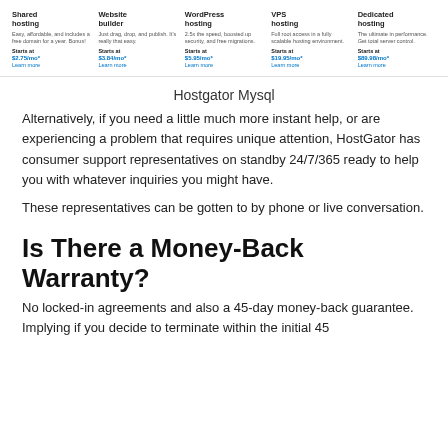| Shared hosting | Website builder | WordPress hosting | VPS hosting | Dedicated hosting |
| --- | --- | --- | --- | --- |
| Easy, affordable, and includes a free domain for a year. Bonus! | Just drag, drop, and publish. It's really that easy. | 2.5x the speed, boosted up security, and free migrations. | Full root access in a fully scalable hosting environment. | The ultimate in performance. Get total server control. |
| Starts at
$2.75/mo*
Learn more | Starts at
$3.84/mo*
Learn more | Starts at
$5.95/mo*
Learn more | Starts at
$19.95/mo*
Learn more | Starts at
$89.98/mo*
Learn more |
Hostgator Mysql
Alternatively, if you need a little much more instant help, or are experiencing a problem that requires unique attention, HostGator has consumer support representatives on standby 24/7/365 ready to help you with whatever inquiries you might have.
These representatives can be gotten to by phone or live conversation.
Is There a Money-Back Warranty?
No locked-in agreements and also a 45-day money-back guarantee. Implying if you decide to terminate within the initial 45